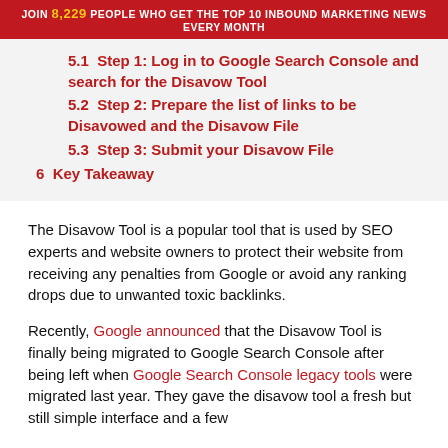JOIN 8,229 PEOPLE WHO GET THE TOP 10 INBOUND MARKETING NEWS EVERY MONTH
5.1  Step 1: Log in to Google Search Console and search for the Disavow Tool
5.2  Step 2: Prepare the list of links to be Disavowed and the Disavow File
5.3  Step 3: Submit your Disavow File
6  Key Takeaway
The Disavow Tool is a popular tool that is used by SEO experts and website owners to protect their website from receiving any penalties from Google or avoid any ranking drops due to unwanted toxic backlinks.
Recently, Google announced that the Disavow Tool is finally being migrated to Google Search Console after being left when Google Search Console legacy tools were migrated last year. They gave the disavow tool a fresh but still simple interface and a few…